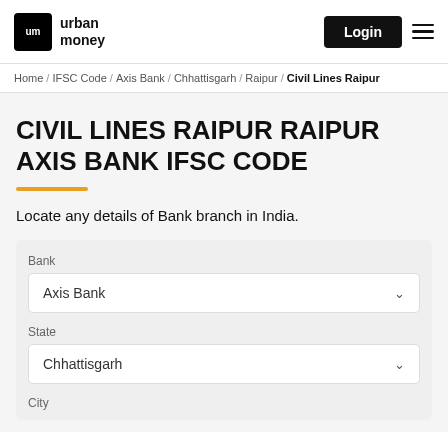urban money | Login
Home / IFSC Code / Axis Bank / Chhattisgarh / Raipur / Civil Lines Raipur
CIVIL LINES RAIPUR RAIPUR AXIS BANK IFSC CODE
Locate any details of Bank branch in India.
Bank
Axis Bank
State
Chhattisgarh
City